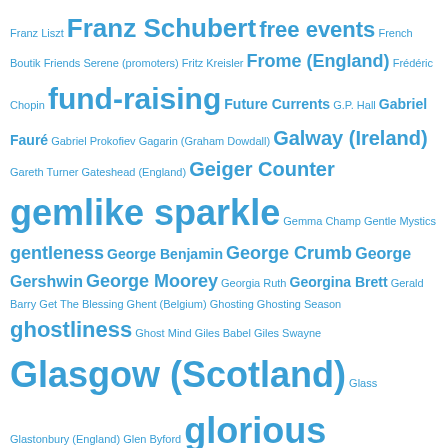[Figure (infographic): Tag cloud of music-related terms, artist names, and locations in shades of blue, with font size indicating frequency/importance. Terms range from small (10-12px) to very large (36px).]